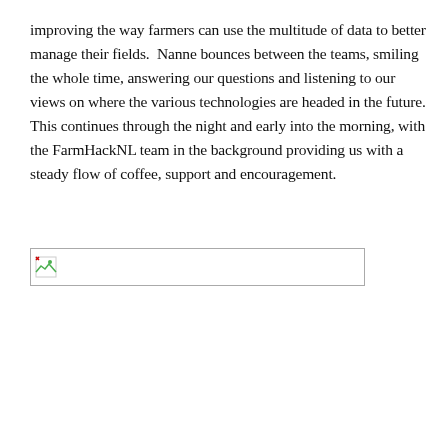improving the way farmers can use the multitude of data to better manage their fields.  Nanne bounces between the teams, smiling the whole time, answering our questions and listening to our views on where the various technologies are headed in the future.  This continues through the night and early into the morning, with the FarmHackNL team in the background providing us with a steady flow of coffee, support and encouragement.
[Figure (photo): A broken/missing image placeholder shown as a small icon in the top-left of a rectangular bordered box.]